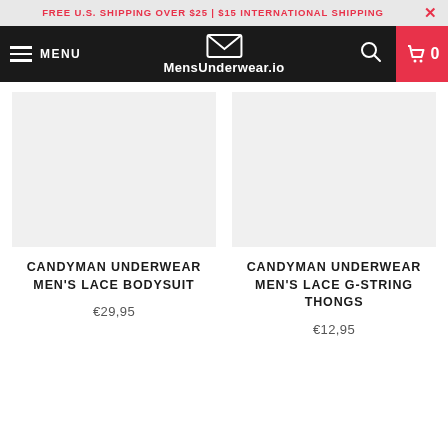FREE U.S. SHIPPING OVER $25 | $15 INTERNATIONAL SHIPPING
[Figure (screenshot): MensUnderwear.io navigation bar with hamburger menu, logo, search icon, and cart icon showing 0 items]
CANDYMAN UNDERWEAR MEN'S LACE BODYSUIT
€29,95
CANDYMAN UNDERWEAR MEN'S LACE G-STRING THONGS
€12,95